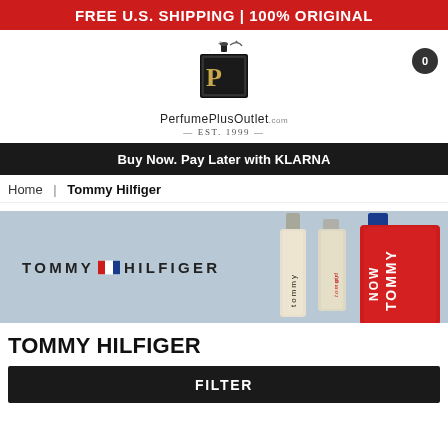FREE U.S. SHIPPING | 100% ORIGINAL
[Figure (logo): PerfumePlusOutlet.com logo with perfume bottle icon, EST. 1999]
Buy Now. Pay Later with KLARNA
Home | Tommy Hilfiger
[Figure (photo): Tommy Hilfiger brand banner with logo and three perfume bottles (tommy, tommy girl, TOMMY NOW)]
TOMMY HILFIGER
FILTER